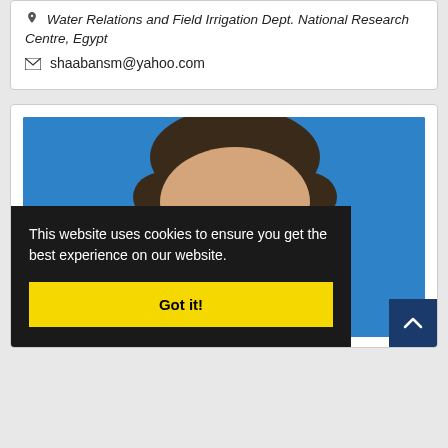Water Relations and Field Irrigation Dept. National Research Centre, Egypt
shaabansm@yahoo.com
[Figure (photo): Headshot photo of a man with short dark hair against a bright blue background, upper portion of face visible]
This website uses cookies to ensure you get the best experience on our website.
Got it!